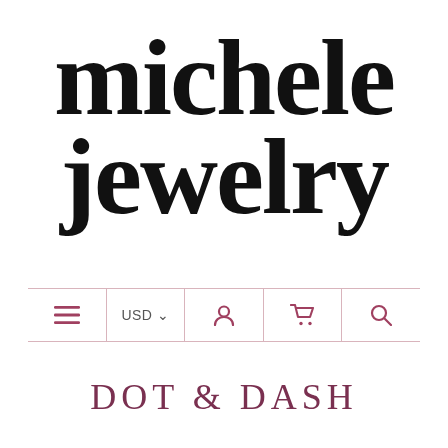[Figure (logo): Michele Jewelry brand logo in large bold serif black text, two lines: 'michele' and 'jewelry']
[Figure (other): Navigation bar with icons: hamburger menu, USD currency selector, user account icon, shopping cart icon, and search icon, separated by vertical dividers, framed by horizontal pink lines]
DOT & DASH